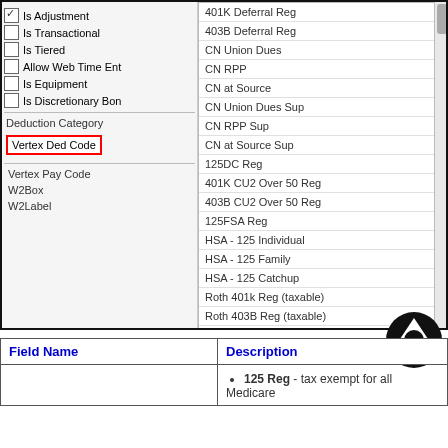[Figure (screenshot): A software UI screenshot showing a left panel with checkboxes (Is Adjustment checked, Is Transactional, Is Tiered, Allow Web Time Ent, Is Equipment, Is Discretionary Boni), a section with Deduction Category, Vertex Ded Code (highlighted in red box), Vertex Pay Code, W2Box, W2Label, and a dropdown list on the right with items: 401K Deferral Reg, 403B Deferral Reg, CN Union Dues, CN RPP, CN at Source, CN Union Dues Sup, CN RPP Sup, CN at Source Sup, 125DC Reg, 401K CU2 Over 50 Reg, 403B CU2 Over 50 Reg, 125FSA Reg, HSA - 125 Individual, HSA - 125 Family, HSA - 125 Catchup, Roth 401k Reg (taxable), Roth 403B Reg (taxable), Roth 403B CU (taxable), Roth 401k CU (taxable). A scrollbar is visible on the right. 'low Negative' text visible at top right.]
| Field Name | Description |
| --- | --- |
|  | • 125 Reg - tax exempt for all Medicare |